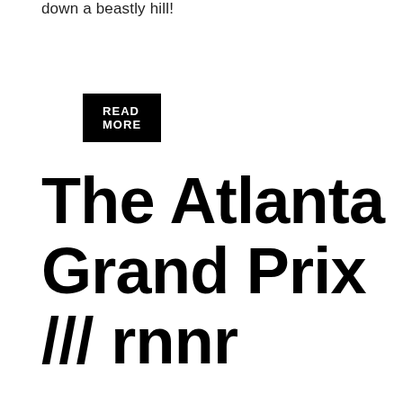down a beastly hill!
READ MORE
The Atlanta Grand Prix /// rnnr